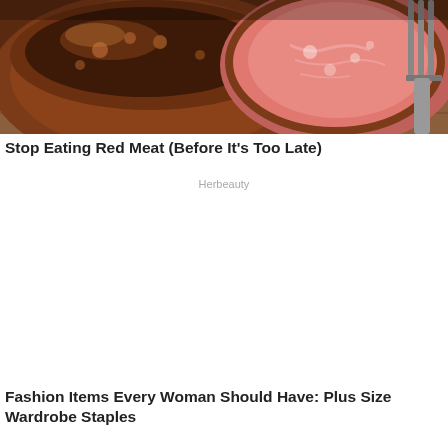[Figure (photo): Close-up photograph of red meat — sliced roast beef and a rack of ribs, showing pink interior and seasoned crust, on a wooden cutting board with a fork]
Stop Eating Red Meat (Before It's Too Late)
Herbeauty
[Figure (photo): Large white blank area representing a second advertisement image not fully loaded]
Fashion Items Every Woman Should Have: Plus Size Wardrobe Staples